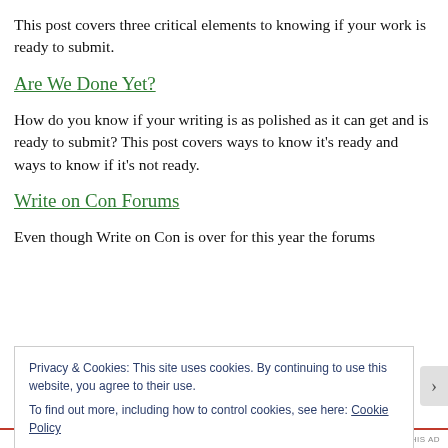This post covers three critical elements to knowing if your work is ready to submit.
Are We Done Yet?
How do you know if your writing is as polished as it can get and is ready to submit? This post covers ways to know it's ready and ways to know if it's not ready.
Write on Con Forums
Even though Write on Con is over for this year the forums
Privacy & Cookies: This site uses cookies. By continuing to use this website, you agree to their use.
To find out more, including how to control cookies, see here: Cookie Policy
Close and accept